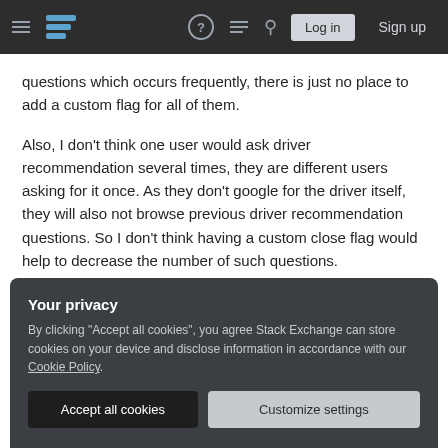Stack Exchange navigation bar with hamburger menu, logo, help, chat, search icons, Log in and Sign up buttons
questions which occurs frequently, there is just no place to add a custom flag for all of them.
Also, I don't think one user would ask driver recommendation several times, they are different users asking for it once. As they don't google for the driver itself, they will also not browse previous driver recommendation questions. So I don't think having a custom close flag would help to decrease the number of such questions.
Your privacy
By clicking "Accept all cookies", you agree Stack Exchange can store cookies on your device and disclose information in accordance with our Cookie Policy.
Accept all cookies
Customize settings